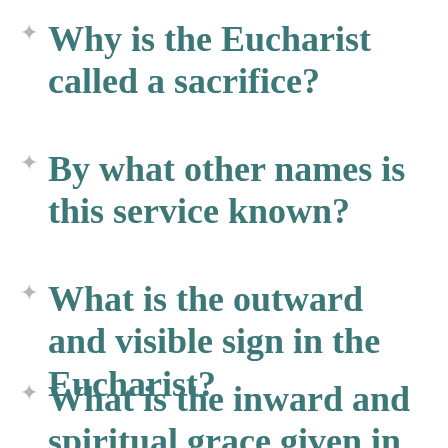Why is the Eucharist called a sacrifice?
By what other names is this service known?
What is the outward and visible sign in the Eucharist?
What is the inward and spiritual grace given in the